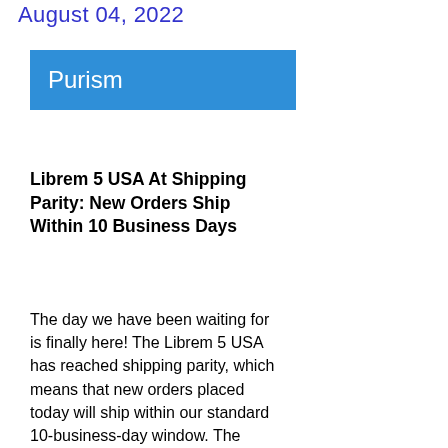August 04, 2022
[Figure (logo): Purism logo — white text 'Purism' on blue rectangle background]
Librem 5 USA At Shipping Parity: New Orders Ship Within 10 Business Days
The day we have been waiting for is finally here! The Librem 5 USA has reached shipping parity, which means that new orders placed today will ship within our standard 10-business-day window. The Librem 5 USA now joins the Librem Mini and Librem 14